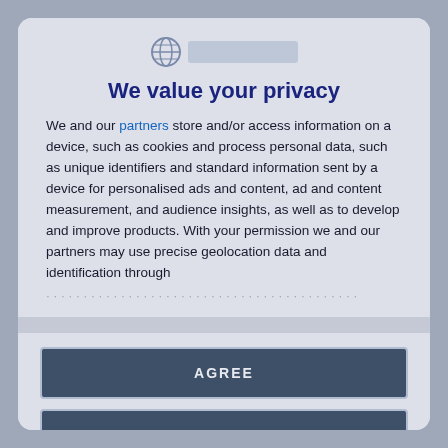[Figure (logo): Circular globe/compass logo icon with a text bar next to it, centered at top of modal]
We value your privacy
We and our partners store and/or access information on a device, such as cookies and process personal data, such as unique identifiers and standard information sent by a device for personalised ads and content, ad and content measurement, and audience insights, as well as to develop and improve products. With your permission we and our partners may use precise geolocation data and identification through
[faded/blurred continuation line]
AGREE
MORE OPTIONS
DISAGREE